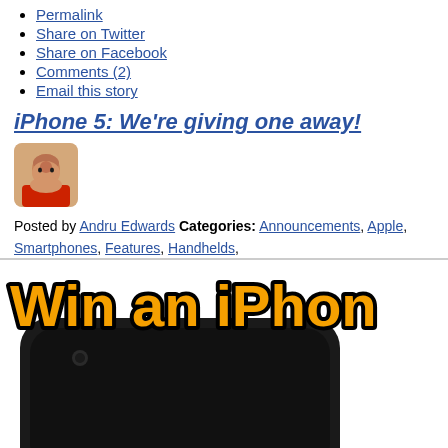Permalink
Share on Twitter
Share on Facebook
Comments (2)
Email this story
iPhone 5: We're giving one away!
[Figure (photo): Author avatar photo of Andru Edwards, bald man with a red shirt, rounded square thumbnail]
Posted by Andru Edwards Categories: Announcements, Apple, Smartphones, Features, Handhelds,
[Figure (photo): Promotional banner image showing 'Win an iPhon' text in orange with black outline over a dark iPhone device on white background]